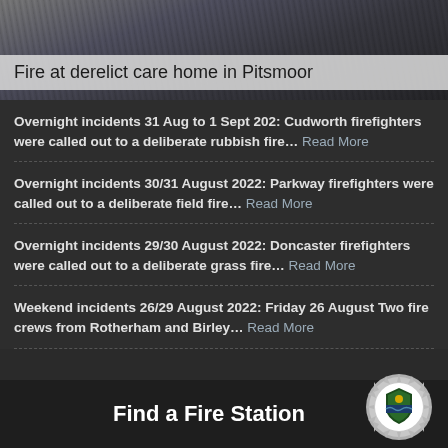[Figure (photo): Firefighters in uniform, dark background photo header]
Fire at derelict care home in Pitsmoor
Overnight incidents 31 Aug to 1 Sept 202: Cudworth firefighters were called out to a deliberate rubbish fire… Read More
Overnight incidents 30/31 August 2022: Parkway firefighters were called out to a deliberate field fire… Read More
Overnight incidents 29/30 August 2022: Doncaster firefighters were called out to a deliberate grass fire… Read More
Weekend incidents 26/29 August 2022: Friday 26 August Two fire crews from Rotherham and Birley… Read More
Find a Fire Station
[Figure (logo): South Yorkshire Fire and Rescue badge/crest logo, circular silver starburst with shield]